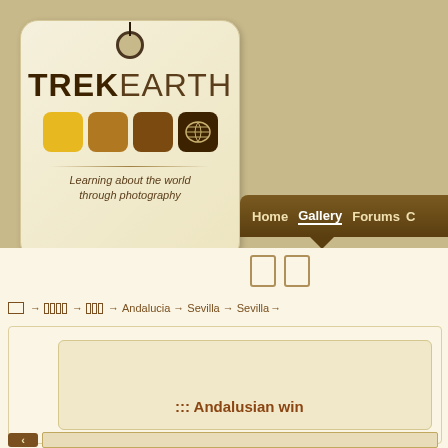[Figure (logo): TrekEarth website logo — a tag-shaped badge with string, showing TREK in bold dark brown and EARTH in lighter brown, four colored squares (yellow, medium brown, dark brown, darkest brown with world map icon), a divider line, and the tagline 'Learning about the world through photography']
Home | Gallery | Forums | C...
□ □
□→ □□□□→ □□□→ Andalucia→ Sevilla→ Sevilla→
::: Andalusian win...
[Figure (other): Left navigation arrow button (brown) and a partial image strip at the bottom of the page]